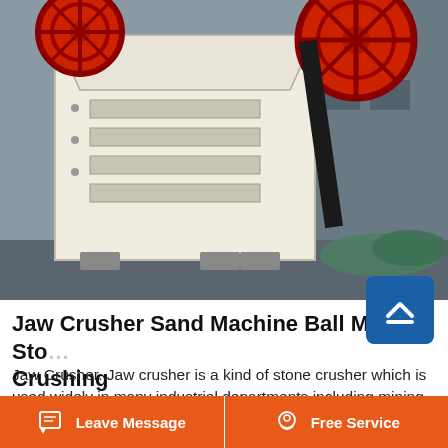[Figure (photo): Jaw crusher machine in an industrial warehouse setting. Large white/cream colored crushing machine with red flywheels on top, rectangular body with slots/chambers, black belt drive visible. Industrial building background with equipment piles.]
Jaw Crusher Sand Machine Ball Mill Stone Crushing
Jaw Crusher. Jaw crusher is a kind of stone crusher which is used widely in many industrial departments including mining, smelt metal, building materials, public road, railway, water conservation, chemical industry and so on, and it is
Leave Message | Free Service